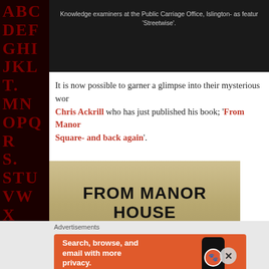[Figure (photo): Dark background photo area with caption about Knowledge examiners at the Public Carriage Office, Islington, as featured in 'Streetwise'.]
Knowledge examiners at the Public Carriage Office, Islington- as featured in 'Streetwise'.
It is now possible to garner a glimpse into their mysterious world, thanks to Chris Ackrill who has just published his book; 'From Manor House to Gibson Square- and back again'.
[Figure (photo): Book cover or sign reading FROM MANOR HOUSE TO GIBSON SQUARE on a stone/marble background]
Advertisements
[Figure (screenshot): DuckDuckGo advertisement: Search, browse, and email with more privacy. All in One Free App. DuckDuckGo.]